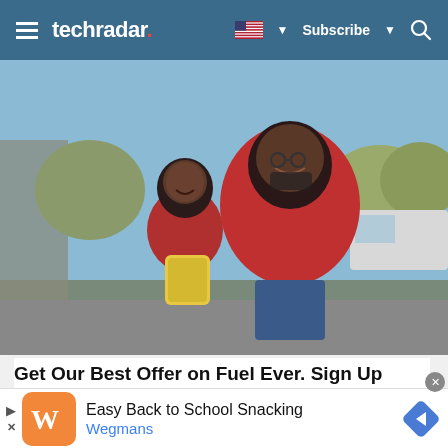techradar | Subscribe
[Figure (photo): A smiling woman in a red T-shirt crouching behind a young child also in red, outdoors near a parking lot with trees and a white van in the background. The child is holding a yellow bag.]
Get Our Best Offer on Fuel Ever. Sign Up Today!
Easy Back to School Snacking Wegmans